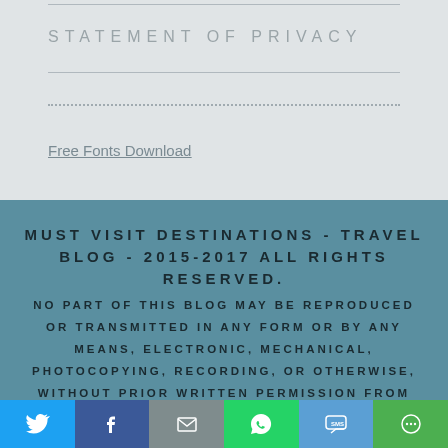STATEMENT OF PRIVACY
Free Fonts Download
MUST VISIT DESTINATIONS - TRAVEL BLOG - 2015-2017 ALL RIGHTS RESERVED.
NO PART OF THIS BLOG MAY BE REPRODUCED OR TRANSMITTED IN ANY FORM OR BY ANY MEANS, ELECTRONIC, MECHANICAL, PHOTOCOPYING, RECORDING, OR OTHERWISE, WITHOUT PRIOR WRITTEN PERMISSION FROM
[Figure (infographic): Social share bar with icons for Twitter (blue), Facebook (dark blue), Email (gray), WhatsApp (green), SMS (light blue), and More/share (green)]